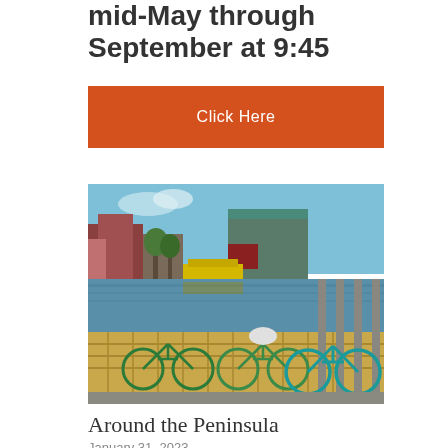mid-May through September at 9:45
Click Here
[Figure (photo): Bicycles parked on a waterfront dock with a harbor, pier, and buildings in the background on a sunny day]
Around the Peninsula
January 31, 2023